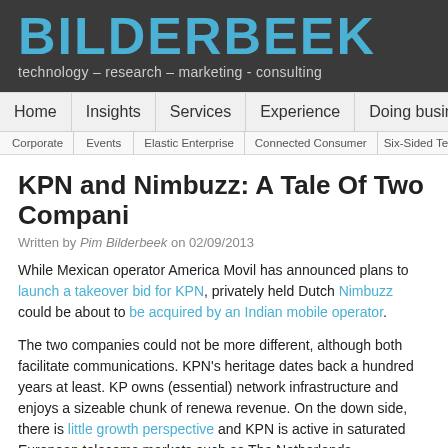BILDERBEEK
technology – research – marketing - consulting
Home | Insights | Services | Experience | Doing business
Corporate | Events | Elastic Enterprise | Connected Consumer | Six-Sided Te
KPN and Nimbuzz: A Tale Of Two Compani
Written by Pim Bilderbeek on 02/09/2013
While Mexican operator America Movil has announced plans to launch a takeover bid for KPN, privately held Dutch Nimbuzz could be about to be acquired by an Indian mobile operator.
The two companies could not be more different, although both facilitate communications. KPN's heritage dates back a hundred years at least. KPN owns (essential) network infrastructure and enjoys a sizeable chunk of renewable revenue. On the down side, there is little growth perspective and KPN is active in saturated European telecoms markets such as The Netherlands